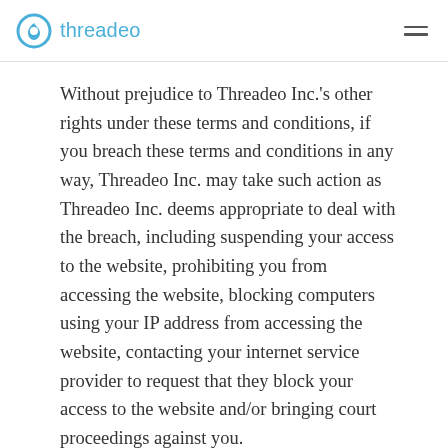threadeo
Without prejudice to Threadeo Inc.'s other rights under these terms and conditions, if you breach these terms and conditions in any way, Threadeo Inc. may take such action as Threadeo Inc. deems appropriate to deal with the breach, including suspending your access to the website, prohibiting you from accessing the website, blocking computers using your IP address from accessing the website, contacting your internet service provider to request that they block your access to the website and/or bringing court proceedings against you.